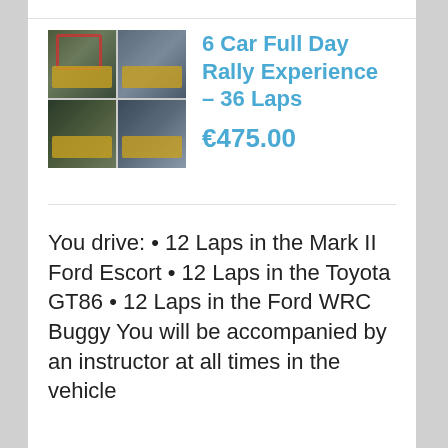[Figure (photo): 2x2 grid of rally car photos showing various cars including a Mark II Ford Escort, Toyota GT86, and Ford WRC Buggy with yellow/black livery]
6 Car Full Day Rally Experience – 36 Laps
€475.00
You drive: • 12 Laps in the Mark II Ford Escort • 12 Laps in the Toyota GT86 • 12 Laps in the Ford WRC Buggy You will be accompanied by an instructor at all times in the vehicle